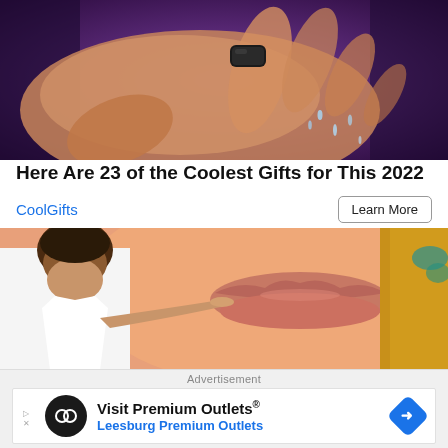[Figure (photo): Close-up of a hand wearing a black smart ring, with water droplets falling from the fingers against a dark purple background]
Here Are 23 of the Coolest Gifts for This 2022
CoolGifts
Learn More
[Figure (photo): Close-up of a woman's lips with a man in a white shirt appearing to touch or inject her lip, with blonde hair and teal jewelry visible]
Advertisement
Visit Premium Outlets® Leesburg Premium Outlets